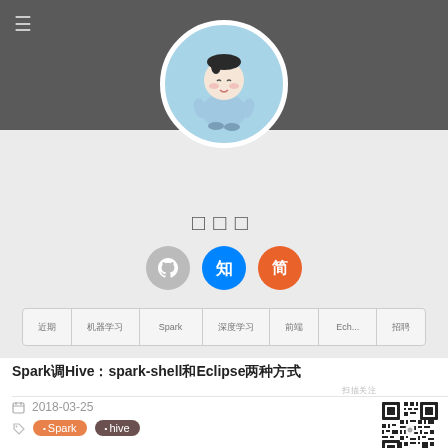[Figure (illustration): Cartoon character avatar in blue outfit on light blue background, circular profile image]
□□□
[Figure (infographic): Three social media icon circles: GitHub (gray), Zhihu (blue, 知), Jianshu (orange, 简)]
近期 | 机器学习 | Spark | 深度学习 | 前端 | Ech... | 招聘
Spark调Hive：spark-shell和Eclipse两种方式
2018-03-25
[Figure (other): QR code in bottom right corner]
• Spark  • hive